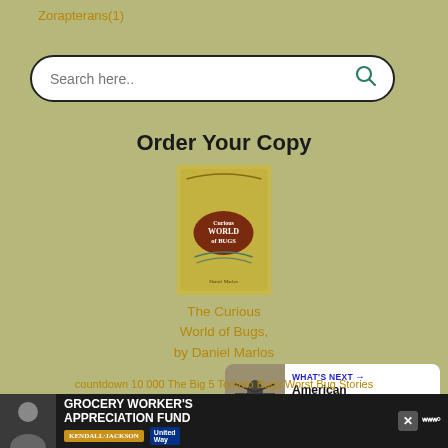Zorapterans(1)
[Figure (screenshot): Search bar with rounded border, placeholder text 'Search here..' and a teal search icon on the right]
Order Your Copy
[Figure (photo): Book cover for 'The Curious World of Bugs' by Daniel Marlos, with a golden/olive green background and a brown oval badge in the center]
The Curious World of Bugs, by Daniel Marlos
[Figure (infographic): Heart/like button (blue circle), count bubble showing '1', and share button (white circle with share icon)]
[Figure (infographic): What's Next panel showing a bug/insect photo on the left and text 'WHAT'S NEXT → American Pelecinid']
countdown 10 000 The Big 5 Tomato Bugs Worst Bug Stories
[Figure (infographic): Advertisement bar: Grocery Worker's Appreciation Fund, with Kendall Jackson and United Way logos, and a close button]